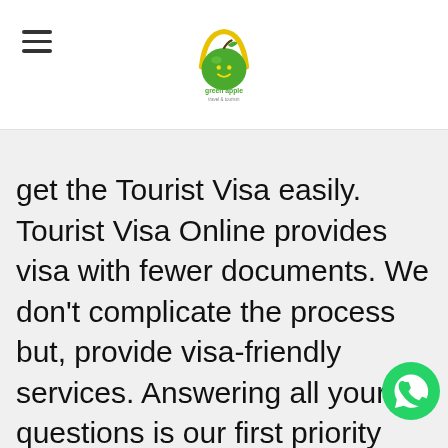Green Apple Travel & Tourism logo with hamburger menu
get the Tourist Visa easily. Tourist Visa Online provides visa with fewer documents. We don't complicate the process but, provide visa-friendly services. Answering all your questions is our first priority and so, we provide excellent Customer Support. We provide correct and accurate information regarding your visa requirements and make sure that you get the visa. We provide full transparency so, you can easily Track Visa Status Online. We provide 100% Secure Online Transaction. We have
[Figure (logo): WhatsApp floating button icon in green circle]